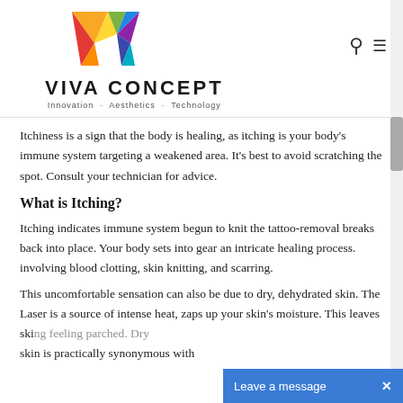[Figure (logo): Viva Concept logo with colorful geometric V shape and text 'VIVA CONCEPT · Innovation · Aesthetics · Technology']
Itchiness is a sign that the body is healing, as itching is your body's immune system targeting a weakened area. It's best to avoid scratching the spot. Consult your technician for advice.
What is Itching?
Itching indicates immune system begun to knit the tattoo-removal breaks back into place. Your body sets into gear an intricate healing process. involving blood clotting, skin knitting, and scarring.
This uncomfortable sensation can also be due to dry, dehydrated skin. The Laser is a source of intense heat, zaps up your skin's moisture. This leaves ski... skin is practically synonymous with...